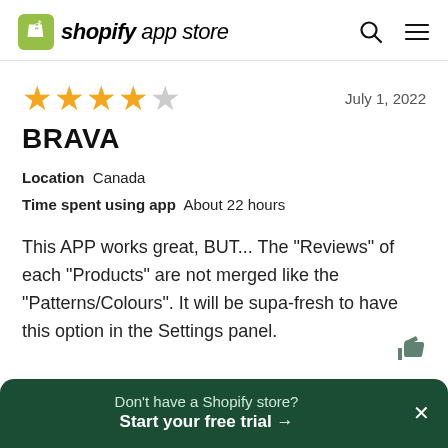shopify app store
[Figure (other): Star rating: 4 out of 5 gold stars with one gray star]
July 1, 2022
BRAVA
Location  Canada
Time spent using app  About 22 hours
This APP works great, BUT... The "Reviews" of each "Products" are not merged like the "Patterns/Colours". It will be supa-fresh to have this option in the Settings panel.
Don't have a Shopify store? Start your free trial →